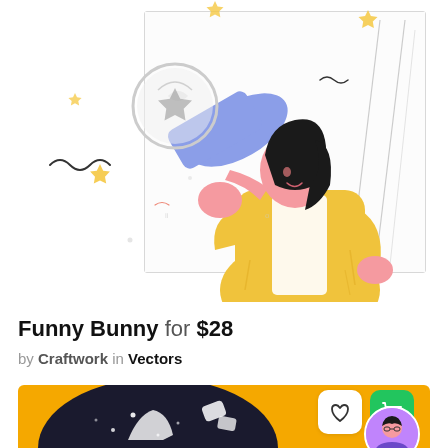[Figure (illustration): Illustration of a woman in a yellow jacket looking through a blue telescope with stars and decorative elements around her, white background with a rectangular border]
Funny Bunny for $28
by Craftwork in Vectors
[Figure (illustration): Yellow-background illustration showing a dark circular shape with a figure and stars, heart icon button, green shopping cart icon button, and a circular avatar of a person]